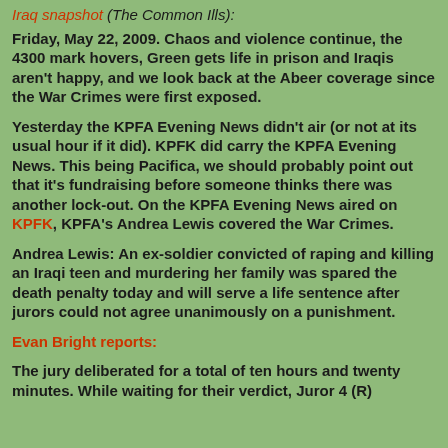Iraq snapshot (The Common Ills):
Friday, May 22, 2009. Chaos and violence continue, the 4300 mark hovers, Green gets life in prison and Iraqis aren't happy, and we look back at the Abeer coverage since the War Crimes were first exposed.
Yesterday the KPFA Evening News didn't air (or not at its usual hour if it did). KPFK did carry the KPFA Evening News. This being Pacifica, we should probably point out that it's fundraising before someone thinks there was another lock-out. On the KPFA Evening News aired on KPFK, KPFA's Andrea Lewis covered the War Crimes.
Andrea Lewis: An ex-soldier convicted of raping and killing an Iraqi teen and murdering her family was spared the death penalty today and will serve a life sentence after jurors could not agree unanimously on a punishment.
Evan Bright reports:
The jury deliberated for a total of ten hours and twenty minutes. While waiting for their verdict, Juror 4 (R...